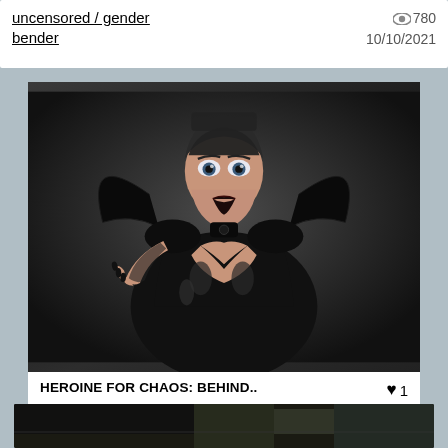uncensored / gender bender
780 10/10/2021
[Figure (illustration): 3D rendered image of a dark female figure in a black latex/vinyl costume with exaggerated bat-wing shoulder collar, looking menacingly at the camera with black nails and dark lipstick]
HEROINE FOR CHAOS: BEHIND..
1
corruption / demon girl
310
17/01/2021
[Figure (photo): Partial image at bottom of page, appears to show a dark outdoor or industrial scene]